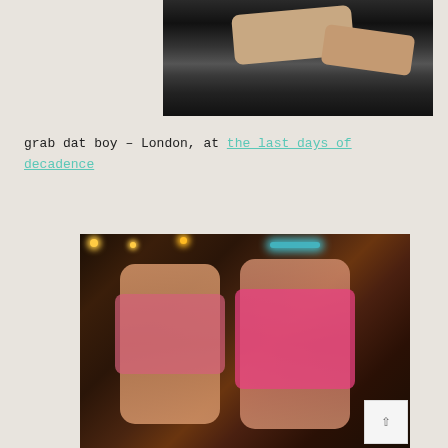[Figure (photo): Close-up photo of people in dark clothing, partial view of torsos and hands]
grab dat boy – London, at the last days of decadence
[Figure (photo): Photo of two young women dancing at a nightclub or bar event, warm ambient lighting with neon blue light visible in background]